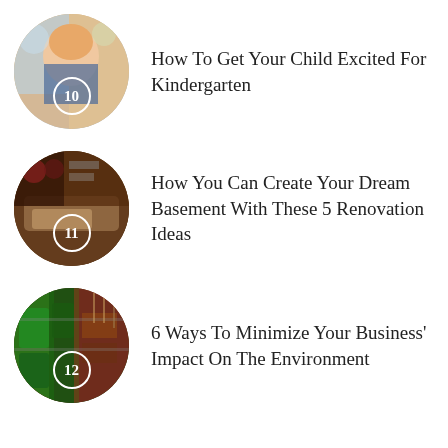10 How To Get Your Child Excited For Kindergarten
11 How You Can Create Your Dream Basement With These 5 Renovation Ideas
12 6 Ways To Minimize Your Business' Impact On The Environment